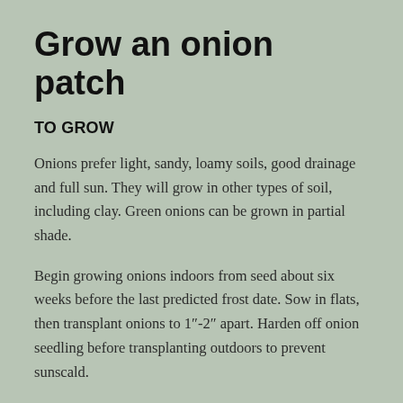Grow an onion patch
TO GROW
Onions prefer light, sandy, loamy soils, good drainage and full sun. They will grow in other types of soil, including clay. Green onions can be grown in partial shade.
Begin growing onions indoors from seed about six weeks before the last predicted frost date. Sow in flats, then transplant onions to 1"-2" apart. Harden off onion seedling before transplanting outdoors to prevent sunscald.
I have my best luck growing onions from sets or starts. These baby onion plants are ready to plant. Even though sets are more expensive,